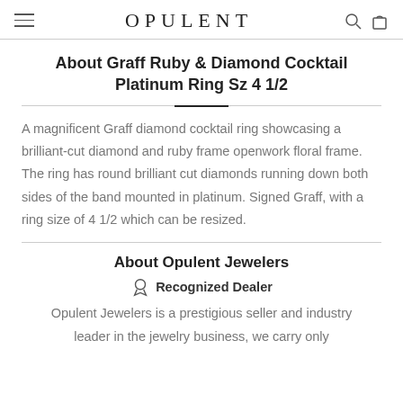OPULENT
About Graff Ruby & Diamond Cocktail Platinum Ring Sz 4 1/2
A magnificent Graff diamond cocktail ring showcasing a brilliant-cut diamond and ruby frame openwork floral frame. The ring has round brilliant cut diamonds running down both sides of the band mounted in platinum. Signed Graff, with a ring size of 4 1/2 which can be resized.
About Opulent Jewelers
Recognized Dealer
Opulent Jewelers is a prestigious seller and industry leader in the jewelry business, we carry only